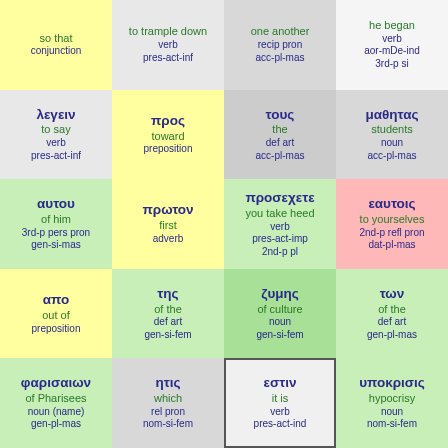| so that / conjunction | to trample down / verb pres-act-inf | one another / recip pron acc-pl-mas | he began / verb aor-mDe-ind 3rd-p si |
| λεγειν / to say / verb pres-act-inf | προς / toward / preposition | τους / the / def art acc-pl-mas | μαθητας / students / noun acc-pl-mas |
| αυτου / of him / 3rd-p pers pron gen-si-mas | πρωτον / first / adverb | προσεχετε / you take heed / verb pres-act-imp 2nd-p pl | εαυτοις / to yourselves / 2nd-p refl pron dat-pl-mas |
| απο / out of / preposition | της / of the / def art gen-si-fem | ζυμης / of culture / noun gen-si-fem | των / of the / def art gen-pl-mas |
| φαρισαιων / of Pharisees / noun (name) gen-pl-mas | ητις / which / rel pron nom-si-fem | εστιν / it is / verb pres-act-ind | υποκρισις / hypocrisy / noun nom-si-fem |